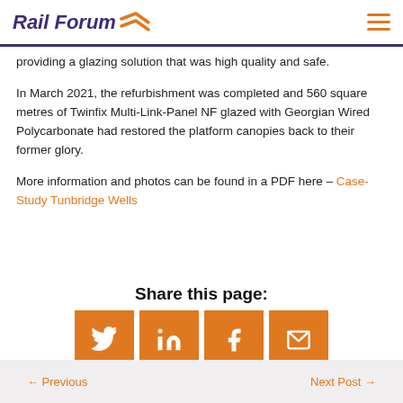Rail Forum
providing a glazing solution that was high quality and safe.
In March 2021, the refurbishment was completed and 560 square metres of Twinfix Multi-Link-Panel NF glazed with Georgian Wired Polycarbonate had restored the platform canopies back to their former glory.
More information and photos can be found in a PDF here – Case-Study Tunbridge Wells
Share this page:
[Figure (infographic): Four orange social share buttons: Twitter, LinkedIn, Facebook, Email]
← Previous    Next Post →